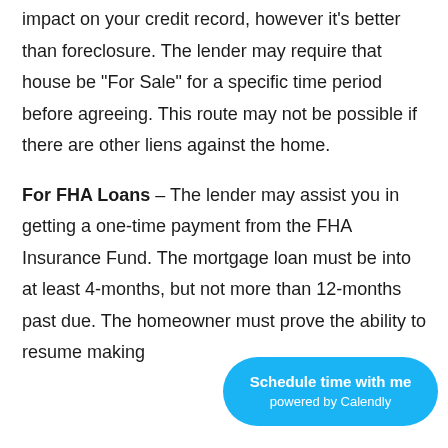impact on your credit record, however it's better than foreclosure. The lender may require that house be "For Sale" for a specific time period before agreeing. This route may not be possible if there are other liens against the home.
For FHA Loans – The lender may assist you in getting a one-time payment from the FHA Insurance Fund. The mortgage loan must be into at least 4-months, but not more than 12-months past due. The homeowner must prove the ability to resume making